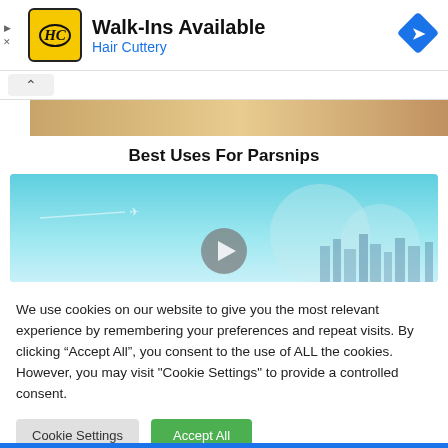[Figure (screenshot): Advertisement banner for Hair Cuttery showing logo, 'Walk-Ins Available' text, blue navigation icon, and ad controls]
[Figure (photo): Partial photo strip showing a person with blonde hair]
Best Uses For Parsnips
[Figure (screenshot): Video thumbnail showing a sky/cityscape scene with an airplane and a circular play button]
We use cookies on our website to give you the most relevant experience by remembering your preferences and repeat visits. By clicking “Accept All”, you consent to the use of ALL the cookies. However, you may visit "Cookie Settings" to provide a controlled consent.
Cookie Settings
Accept All